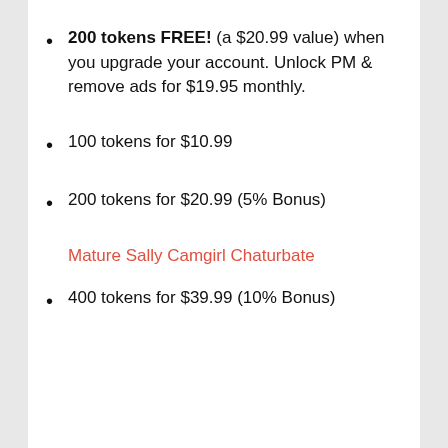200 tokens FREE! (a $20.99 value) when you upgrade your account. Unlock PM & remove ads for $19.95 monthly.
100 tokens for $10.99
200 tokens for $20.99 (5% Bonus)
Mature Sally Camgirl Chaturbate
400 tokens for $39.99 (10% Bonus)